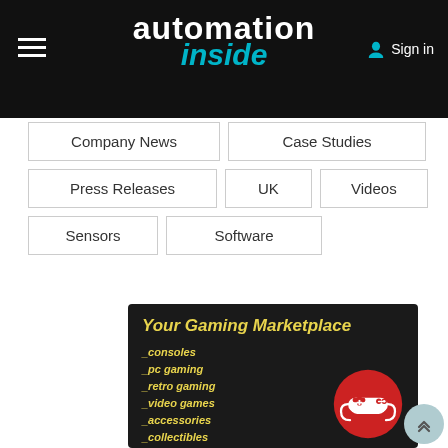automation inside
Company News
Case Studies
Press Releases
UK
Videos
Sensors
Software
[Figure (screenshot): Gaming marketplace advertisement banner with dark background, yellow italic text listing: Your Gaming Marketplace, _consoles, _pc gaming, _retro gaming, _video games, _accessories, _collectibles, _... and a red circle with white game controller icon]